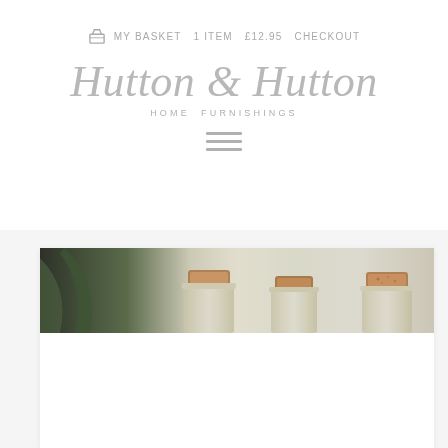🛒 MY BASKET  1 ITEM  £12.95  CHECKOUT
Hutton & Hutton
HOME FURNISHINGS
[Figure (other): Hamburger menu icon with three horizontal lines]
[Figure (photo): Photo of small glass jars with cork lids on a light green/white shelf background with a plant leaf visible on the left]